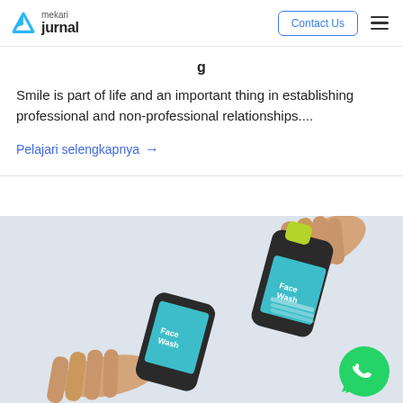mekari jurnal — Contact Us
Smile is part of life and an important thing in establishing professional and non-professional relationships....
Pelajari selengkapnya →
[Figure (photo): Two hands exchanging a Face Wash product bottle with a green cap against a light gray background. A WhatsApp chat button is visible in the bottom right corner.]